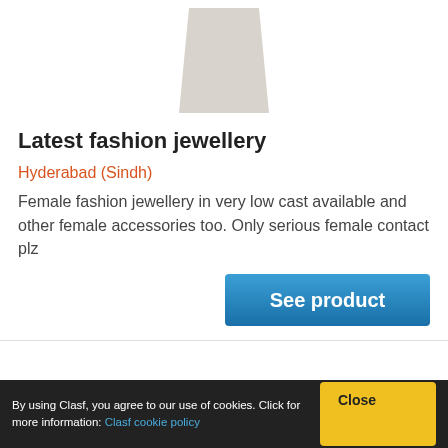[Figure (photo): Product image showing a light grey/beige abstract trapezoid shape representing a jewellery item placeholder]
Latest fashion jewellery
Hyderabad (Sindh)
Female fashion jewellery in very low cast available and other female accessories too. Only serious female contact plz
See product
By using Clasf, you agree to our use of cookies. Click for more information: Clasf cookie policy